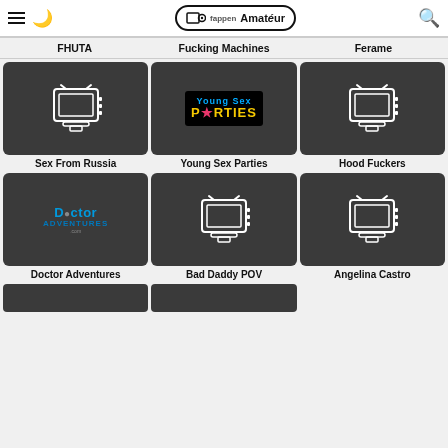Fappen Amateur — navigation header with hamburger menu, moon/dark-mode icon, logo, and search icon
FHUTA | Fucking Machines | Ferame
[Figure (screenshot): Sex From Russia card with TV placeholder icon on dark background]
Sex From Russia
[Figure (screenshot): Young Sex Parties card with Young Sex Parties logo on black background]
Young Sex Parties
[Figure (screenshot): Hood Fuckers card with TV placeholder icon on dark background]
Hood Fuckers
[Figure (screenshot): Doctor Adventures card with Doctor Adventures logo on dark background]
Doctor Adventures
[Figure (screenshot): Bad Daddy POV card with TV placeholder icon on dark background]
Bad Daddy POV
[Figure (screenshot): Angelina Castro card with TV placeholder icon on dark background]
Angelina Castro